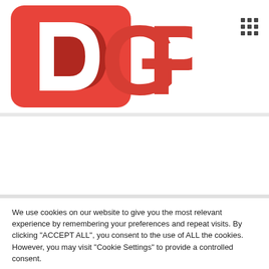[Figure (logo): DGP logo — red square with white D, red G and P letters beside it]
We use cookies on our website to give you the most relevant experience by remembering your preferences and repeat visits. By clicking "ACCEPT ALL", you consent to the use of ALL the cookies. However, you may visit "Cookie Settings" to provide a controlled consent.
Cookie Settings  REJECT ALL  ACCEPT ALL